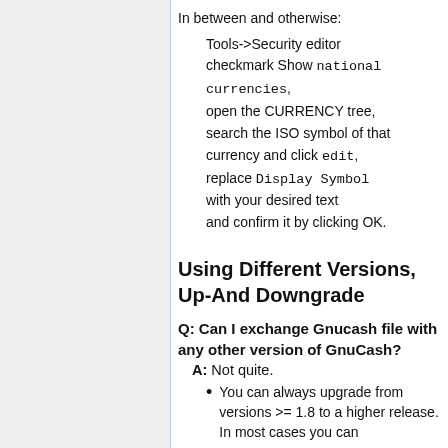In between and otherwise:
Tools->Security editor checkmark Show national currencies, open the CURRENCY tree, search the ISO symbol of that currency and click edit, replace Display Symbol with your desired text and confirm it by clicking OK.
Using Different Versions, Up-And Downgrade
Q: Can I exchange Gnucash file with any other version of GnuCash?
A: Not quite.
You can always upgrade from versions >= 1.8 to a higher release. In most cases you can